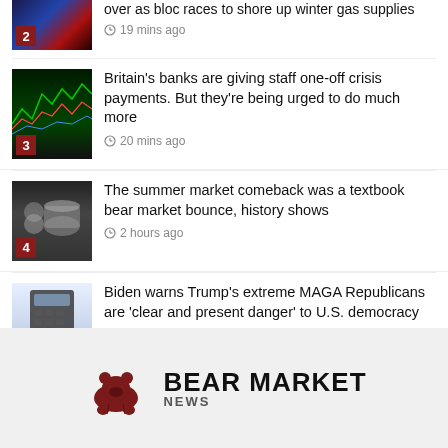over as bloc races to shore up winter gas supplies — 19 mins ago
Britain's banks are giving staff one-off crisis payments. But they're being urged to do much more — 20 mins ago
The summer market comeback was a textbook bear market bounce, history shows — 2 hours ago
Biden warns Trump's extreme MAGA Republicans are 'clear and present danger' to U.S. democracy — 5 hours ago
BEAR MARKET NEWS